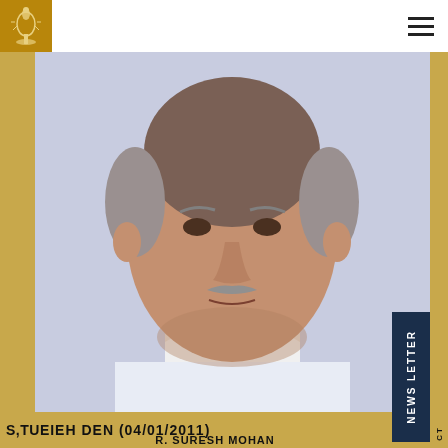[Figure (logo): University emblem/logo in gold on dark background]
[Figure (photo): Portrait photo of R. Suresh Mohan, an elderly Indian man with grey mustache wearing a white shirt, against a light lavender background]
S,TU... (partially visible text in bottom bar)
R. SURESH MOHAN
NEWS LETTER
CT